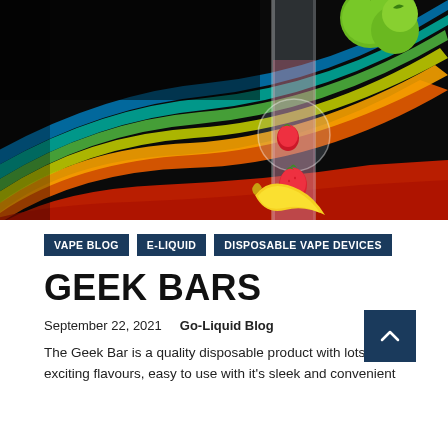[Figure (photo): Hero image showing a colorful vape device with fruits (apple, strawberry, banana) and rainbow swirling color streaks on black background]
VAPE BLOG
E-LIQUID
DISPOSABLE VAPE DEVICES
GEEK BARS
September 22, 2021   Go-Liquid Blog
The Geek Bar is a quality disposable product with lots of exciting flavours, easy to use with it's sleek and convenient